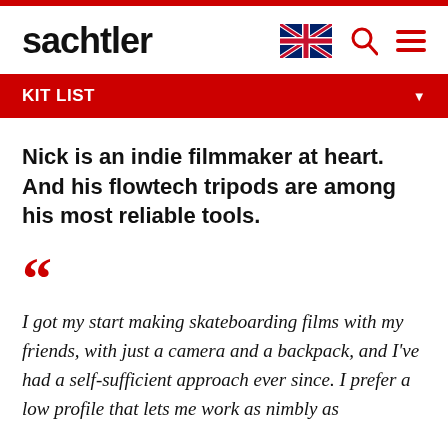sachtler
KIT LIST
Nick is an indie filmmaker at heart. And his flowtech tripods are among his most reliable tools.
I got my start making skateboarding films with my friends, with just a camera and a backpack, and I've had a self-sufficient approach ever since. I prefer a low profile that lets me work as nimbly as